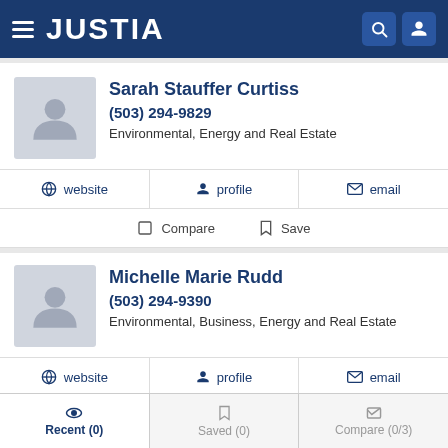JUSTIA
Sarah Stauffer Curtiss
(503) 294-9829
Environmental, Energy and Real Estate
website  profile  email
Compare  Save
Michelle Marie Rudd
(503) 294-9390
Environmental, Business, Energy and Real Estate
website  profile  email
Recent (0)  Saved (0)  Compare (0/3)